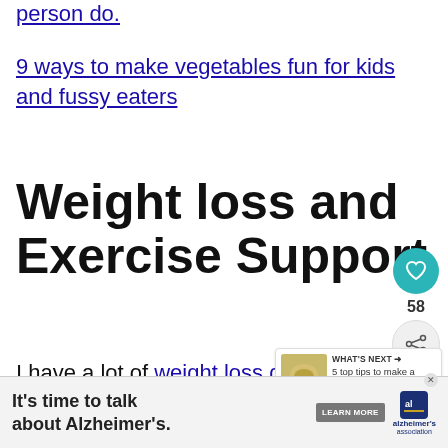person do.
9 ways to make vegetables fun for kids and fussy eaters
Weight loss and Exercise Support
I have a lot of weight loss guides support if you want to exercise including if
[Figure (other): What's Next promotional widget showing article thumbnail with text '5 top tips to make a perf...']
[Figure (other): Advertisement banner: It's time to talk about Alzheimer's. LEARN MORE - Alzheimer's Association logo]